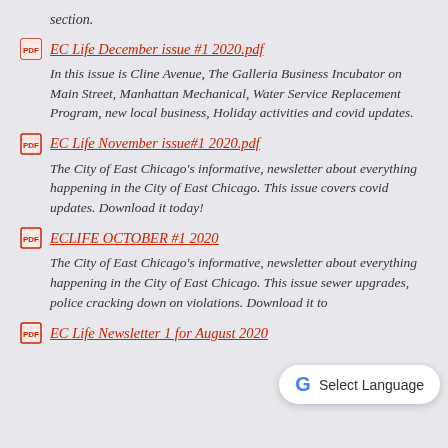section.
EC Life December issue #1 2020.pdf
In this issue is Cline Avenue, The Galleria Business Incubator on Main Street, Manhattan Mechanical, Water Service Replacement Program, new local business, Holiday activities and covid updates.
EC Life November issue#1 2020.pdf
The City of East Chicago's informative, newsletter about everything happening in the City of East Chicago. This issue covers covid updates. Download it today!
ECLIFE OCTOBER #1 2020
The City of East Chicago's informative, newsletter about everything happening in the City of East Chicago. This issue sewer upgrades, police cracking down on violations. Download it to
EC Life Newsletter 1 for August 2020